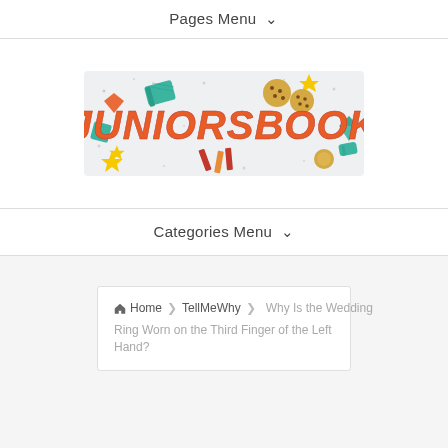Pages Menu ∨
[Figure (logo): JuniorsBook colorful logo banner with text JUNIORSBOOK in orange/red letters surrounded by school-themed illustrations (books, stars, cookies, pencils, gems) on a light grey background]
Categories Menu ∨
Home > TellMeWhy > Why Is the Wedding Ring Worn on the Third Finger of the Left Hand?